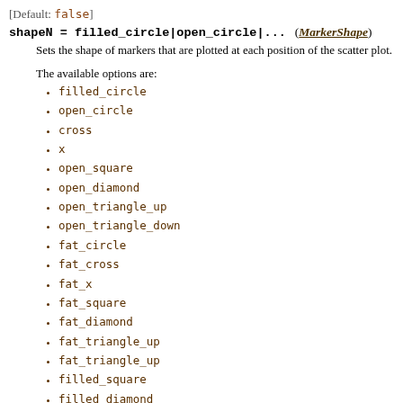[Default: false]
shapeN = filled_circle|open_circle|...    (MarkerShape)
Sets the shape of markers that are plotted at each position of the scatter plot.
The available options are:
filled_circle
open_circle
cross
x
open_square
open_diamond
open_triangle_up
open_triangle_down
fat_circle
fat_cross
fat_x
fat_square
fat_diamond
fat_triangle_up
fat_triangle_up
filled_square
filled_diamond
filled_triangle_up